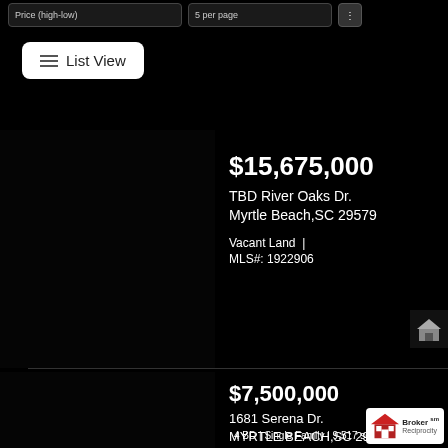Price (high-low)
5 per page
List View
$15,675,000
TBD River Oaks Dr.
Myrtle Beach,SC 29579
Vacant Land | MLS#: 1922906
$7,500,000
1681 Serena Dr.
MYRTLE BEACH,SC 29579
4 BD | Single Family | 9,517 sqft
MLS#: 2207493
Broker
Reciprocity